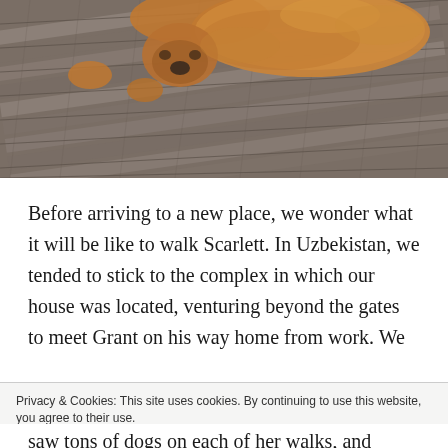[Figure (photo): A dog (golden/orange, fluffy) lying on weathered gray wooden deck planks, viewed from above. The dog's face and paws are visible at the top. The wooden boards run diagonally and show significant texture and grain.]
Before arriving to a new place, we wonder what it will be like to walk Scarlett. In Uzbekistan, we tended to stick to the complex in which our house was located, venturing beyond the gates to meet Grant on his way home from work. We
Privacy & Cookies: This site uses cookies. By continuing to use this website, you agree to their use.
To find out more, including how to control cookies, see here: Cookie Policy
Close and accept
saw tons of dogs on each of her walks, and